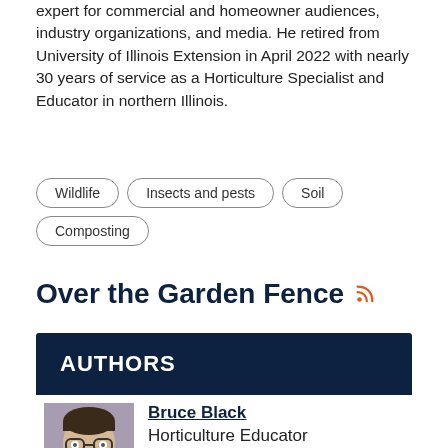expert for commercial and homeowner audiences, industry organizations, and media. He retired from University of Illinois Extension in April 2022 with nearly 30 years of service as a Horticulture Specialist and Educator in northern Illinois.
Wildlife
Insects and pests
Soil
Composting
Over the Garden Fence
AUTHORS
Bruce Black
Horticulture Educator
Serving Carroll, Lee and Whiteside